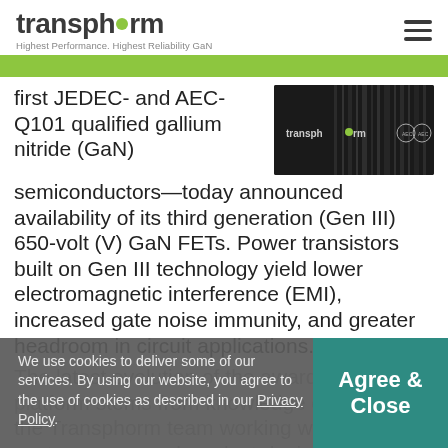transphorm — Highest Performance. Highest Reliability GaN
first JEDEC- and AEC-Q101 qualified gallium nitride (GaN) semiconductors—today announced availability of its third generation (Gen III) 650-volt (V) GaN FETs. Power transistors built on Gen III technology yield lower electromagnetic interference (EMI), increased gate noise immunity, and greater headroom in circuit applications.
[Figure (photo): Transphorm branded image with dark industrial/electronic background and AEC logo badges]
The latest evolution of the award-winning platform stems from knowledge gained by the Transphorm team working with customers on end product designs now in production or soon to be released. Gen III devices being released include the TPH3H050WS 50 mΩ FET and
We use cookies to deliver some of our services. By using our website, you agree to the use of cookies as described in our Privacy Policy.
Agree & Close